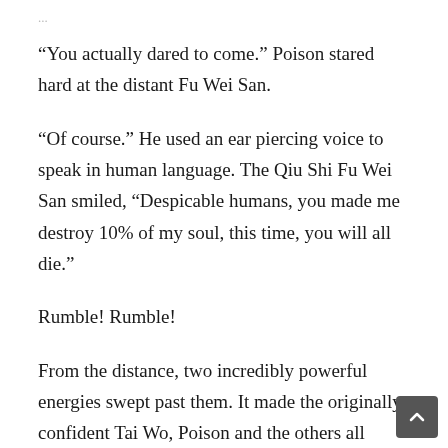...
“You actually dared to come.” Poison stared hard at the distant Fu Wei San.
“Of course.” He used an ear piercing voice to speak in human language. The Qiu Shi Fu Wei San smiled, “Despicable humans, you made me destroy 10% of my soul, this time, you will all die.”
Rumble! Rumble!
From the distance, two incredibly powerful energies swept past them. It made the originally confident Tai Wo, Poison and the others all change their expressions as they turned to look. Two enormous beings had appeared, one was a single horned dragon covered in scales and the other was one